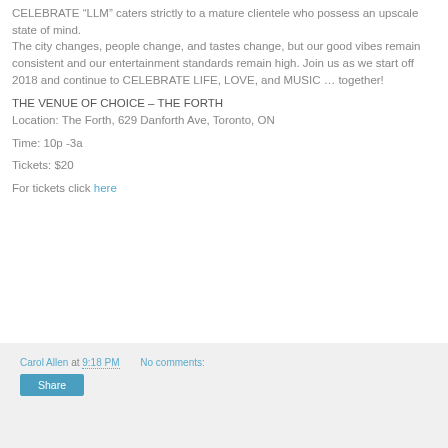CELEBRATE “LLM” caters strictly to a mature clientele who possess an upscale state of mind.
The city changes, people change, and tastes change, but our good vibes remain consistent and our entertainment standards remain high. Join us as we start off 2018 and continue to CELEBRATE LIFE, LOVE, and MUSIC … together!
THE VENUE OF CHOICE – THE FORTH
Location: The Forth, 629 Danforth Ave, Toronto, ON
Time: 10p -3a
Tickets: $20
For tickets click here
Carol Allen at 9:18 PM   No comments:   Share